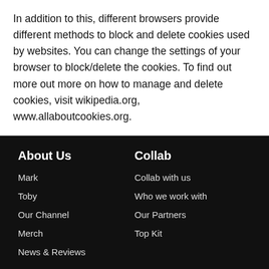In addition to this, different browsers provide different methods to block and delete cookies used by websites. You can change the settings of your browser to block/delete the cookies. To find out more out more on how to manage and delete cookies, visit wikipedia.org, www.allaboutcookies.org.
About Us
Mark
Toby
Our Channel
Merch
News & Reviews
Collab
Collab with us
Who we work with
Our Partners
Top Kit
Follow Us